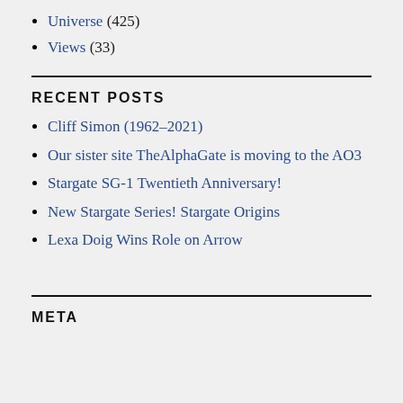Universe (425)
Views (33)
RECENT POSTS
Cliff Simon (1962-2021)
Our sister site TheAlphaGate is moving to the AO3
Stargate SG-1 Twentieth Anniversary!
New Stargate Series! Stargate Origins
Lexa Doig Wins Role on Arrow
META